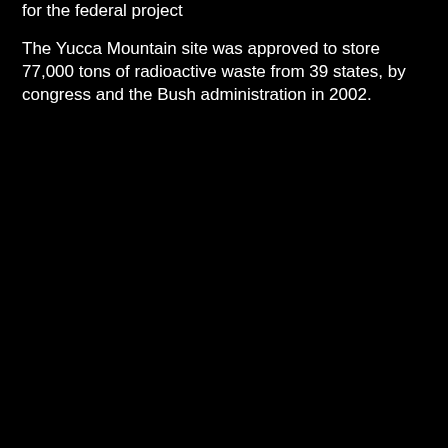for the federal project
The Yucca Mountain site was approved to store 77,000 tons of radioactive waste from 39 states, by congress and the Bush administration in 2002.